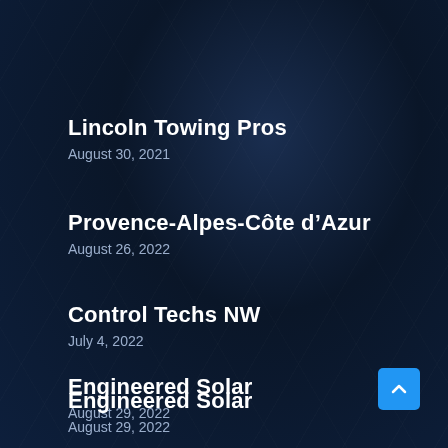Lincoln Towing Pros
August 30, 2021
Provence-Alpes-Côte d’Azur
August 26, 2022
Control Techs NW
July 4, 2022
Engineered Solar
August 29, 2022
Moreira
August 30, 2022